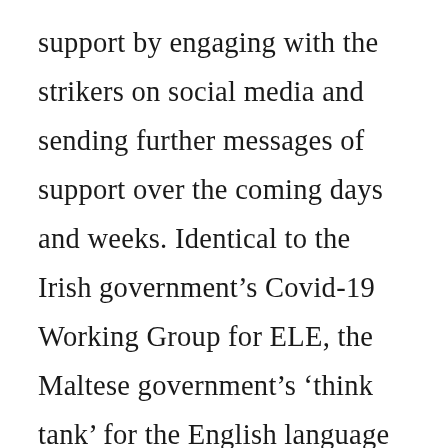support by engaging with the strikers on social media and sending further messages of support over the coming days and weeks. Identical to the Irish government’s Covid-19 Working Group for ELE, the Maltese government’s ‘think tank’ for the English language sector has excluded workers representatives and unions from participating or contributing in the most undemocratic and ignorant way. Our branch, along with the TEFL Workers Union in London, has sent donations to the workers this week in solidarity with our colleagues and